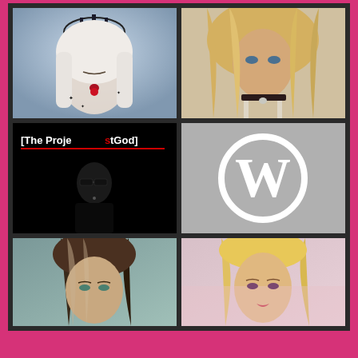[Figure (photo): Top-left: White-haired female avatar with dark crown and red rose, fantasy/gothic style illustration]
[Figure (photo): Top-right: Blonde female avatar with choker necklace, 3D rendered portrait]
[Figure (illustration): Middle-left: Black background with text '[The ProjeStGod]' in white and red, with a dark male avatar wearing sunglasses below]
[Figure (logo): Middle-right: WordPress logo - white W in circle on grey background]
[Figure (photo): Bottom-left: Brunette female avatar portrait, 3D rendered]
[Figure (photo): Bottom-right: Blonde female avatar portrait with pink tones, 3D rendered]